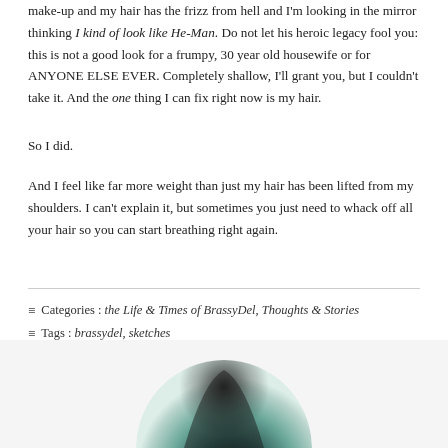make-up and my hair has the frizz from hell and I'm looking in the mirror thinking I kind of look like He-Man. Do not let his heroic legacy fool you: this is not a good look for a frumpy, 30 year old housewife or for ANYONE ELSE EVER. Completely shallow, I'll grant you, but I couldn't take it. And the one thing I can fix right now is my hair.
So I did.
And I feel like far more weight than just my hair has been lifted from my shoulders. I can't explain it, but sometimes you just need to whack off all your hair so you can start breathing right again.
Categories : the Life & Times of BrassyDel, Thoughts & Stories
Tags : brassydel, sketches
[Figure (photo): Partial circular image at bottom of page, appears to be a stylized bird or illustration with dark teal and black coloring]